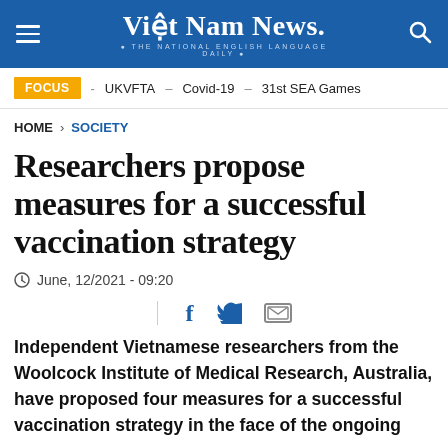Việt Nam News. THE NATIONAL ENGLISH LANGUAGE DAILY
FOCUS - UKVFTA – Covid-19 – 31st SEA Games
HOME > SOCIETY
Researchers propose measures for a successful vaccination strategy
June, 12/2021 - 09:20
Independent Vietnamese researchers from the Woolcock Institute of Medical Research, Australia, have proposed four measures for a successful vaccination strategy in the face of the ongoing